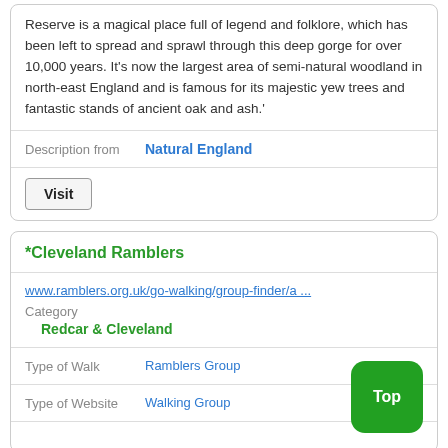Reserve is a magical place full of legend and folklore, which has been left to spread and sprawl through this deep gorge for over 10,000 years. It's now the largest area of semi-natural woodland in north-east England and is famous for its majestic yew trees and fantastic stands of ancient oak and ash.'
| Description from | Natural England |
| --- | --- |
| Visit |
| --- |
*Cleveland Ramblers
www.ramblers.org.uk/go-walking/group-finder/a ...
Category
Redcar & Cleveland
| Type of Walk | Ramblers Group |
| --- | --- |
| Type of Website | Walking Group |
| --- | --- |